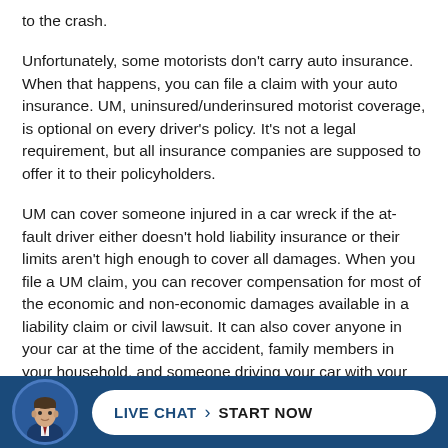to the crash.
Unfortunately, some motorists don't carry auto insurance. When that happens, you can file a claim with your auto insurance. UM, uninsured/underinsured motorist coverage, is optional on every driver's policy. It's not a legal requirement, but all insurance companies are supposed to offer it to their policyholders.
UM can cover someone injured in a car wreck if the at-fault driver either doesn't hold liability insurance or their limits aren't high enough to cover all damages. When you file a UM claim, you can recover compensation for most of the economic and non-economic damages available in a liability claim or civil lawsuit. It can also cover anyone in your car at the time of the accident, family members in your household, and someone driving your car with your permis...
[Figure (other): Footer bar with attorney avatar photo and Live Chat / Start Now button on dark blue background]